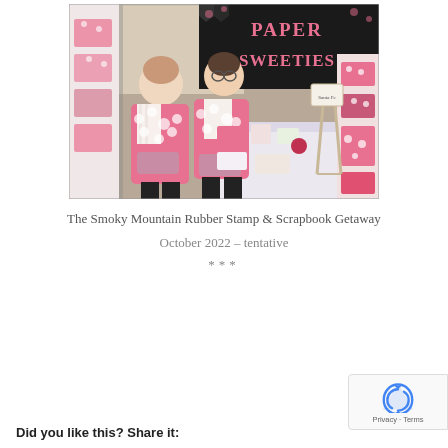[Figure (photo): Two women wearing pink polka-dot aprons standing at a craft fair booth for 'Paper Sweeties', with a black banner featuring pink lettering, pink polka-dot boxes on a table, and display merchandise.]
The Smoky Mountain Rubber Stamp & Scrapbook Getaway
October 2022 – tentative
***
Did you like this? Share it: